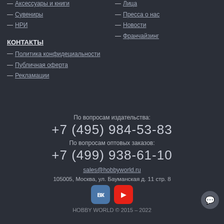— Аксессуары и книги
— Сувениры
— НРИ
— Лица
— Пресса о нас
— Новости
— Франчайзинг
КОНТАКТЫ
— Политика конфидециальности
— Публичная оферта
— Рекламации
По вопросам издательства:
+7 (495) 984-53-83
По вопросам оптовых заказов:
+7 (499) 938-61-10
sales@hobbyworld.ru
105005, Москва, ул. Бауманская д. 11 стр. 8
HOBBY WORLD © 2015 – 2022